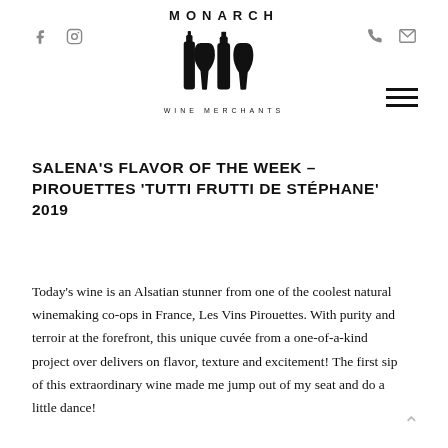MONARCH WINE MERCHANTS
SALENA'S FLAVOR OF THE WEEK – PIROUETTES 'TUTTI FRUTTI DE STÉPHANE' 2019
Today's wine is an Alsatian stunner from one of the coolest natural winemaking co-ops in France, Les Vins Pirouettes. With purity and terroir at the forefront, this unique cuvée from a one-of-a-kind project over delivers on flavor, texture and excitement! The first sip of this extraordinary wine made me jump out of my seat and do a little dance!